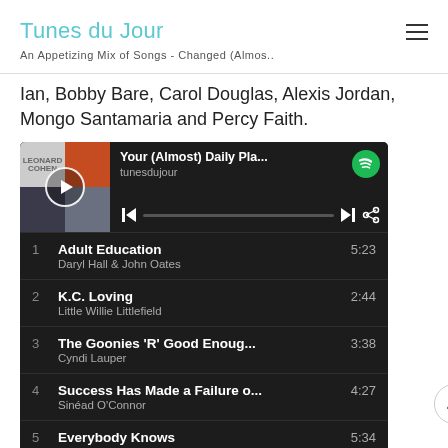Tunes du Jour
An Appetizing Mix of Songs - Changed (Almos..
Ian, Bobby Bare, Carol Douglas, Alexis Jordan, Mongo Santamaria and Percy Faith.
[Figure (screenshot): Spotify playlist widget showing 'Your (Almost) Daily Pla...' by tunesdujour with tracks: 1. Adult Education - Daryl Hall & John Oates 5:23, 2. K.C. Loving - Little Willie Littlefield 2:44, 3. The Goonies 'R' Good Enoug... - Cyndi Lauper 3:38, 4. Success Has Made a Failure o... - Sinéad O'Connor 4:27, 5. Everybody Knows 5:34]